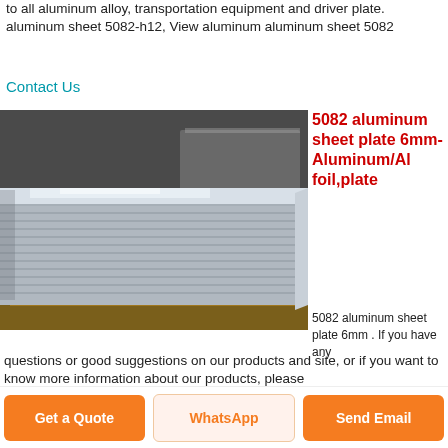to all aluminum alloy, transportation equipment and driver plate. aluminum sheet 5082-h12, View aluminum aluminum sheet 5082
Contact Us
[Figure (photo): Stack of aluminum sheet plates 6mm, showing layered metallic sheets on wooden pallet in warehouse setting]
5082 aluminum sheet plate 6mm-Aluminum/Al foil,plate
5082 aluminum sheet plate 6mm . If you have any questions or good suggestions on our products and site, or if you want to know more information about our products, please
Get a Quote
WhatsApp
Send Email